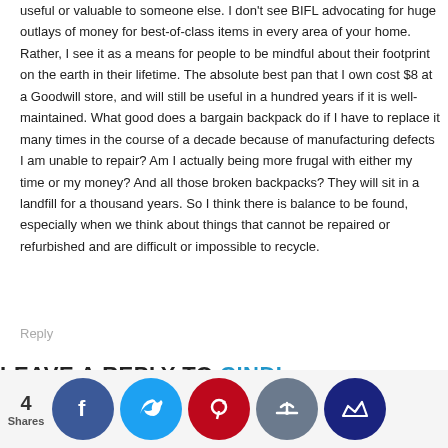useful or valuable to someone else. I don't see BIFL advocating for huge outlays of money for best-of-class items in every area of your home. Rather, I see it as a means for people to be mindful about their footprint on the earth in their lifetime. The absolute best pan that I own cost $8 at a Goodwill store, and will still be useful in a hundred years if it is well-maintained. What good does a bargain backpack do if I have to replace it many times in the course of a decade because of manufacturing defects I am unable to repair? Am I actually being more frugal with either my time or my money? And all those broken backpacks? They will sit in a landfill for a thousand years. So I think there is balance to be found, especially when we think about things that cannot be repaired or refurbished and are difficult or impossible to recycle.
Reply
LEAVE A REPLY TO CINDI
[Figure (other): Social share bar with 4 Shares count and social media icons: Facebook, Twitter, Pinterest, thumbs-up, and crown/bookmark icon]